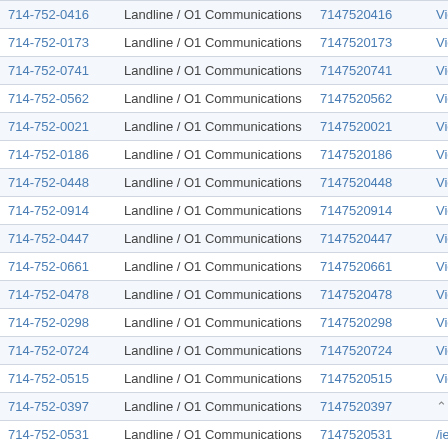| Phone | Type | Digits | Action |
| --- | --- | --- | --- |
| 714-752-0416 | Landline / O1 Communications | 7147520416 | View |
| 714-752-0173 | Landline / O1 Communications | 7147520173 | View |
| 714-752-0741 | Landline / O1 Communications | 7147520741 | View |
| 714-752-0562 | Landline / O1 Communications | 7147520562 | View |
| 714-752-0021 | Landline / O1 Communications | 7147520021 | View |
| 714-752-0186 | Landline / O1 Communications | 7147520186 | View |
| 714-752-0448 | Landline / O1 Communications | 7147520448 | View |
| 714-752-0914 | Landline / O1 Communications | 7147520914 | View |
| 714-752-0447 | Landline / O1 Communications | 7147520447 | View |
| 714-752-0661 | Landline / O1 Communications | 7147520661 | View |
| 714-752-0478 | Landline / O1 Communications | 7147520478 | View |
| 714-752-0298 | Landline / O1 Communications | 7147520298 | View |
| 714-752-0724 | Landline / O1 Communications | 7147520724 | View |
| 714-752-0515 | Landline / O1 Communications | 7147520515 | View |
| 714-752-0397 | Landline / O1 Communications | 7147520397 | View |
| 714-752-0531 | Landline / O1 Communications | 7147520531 | View |
| 714-752-0949 | Landline / O1 Communications | 7147520949 | View |
| 714-752-0342 | Landline / O1 Communications | 7147520342 | View |